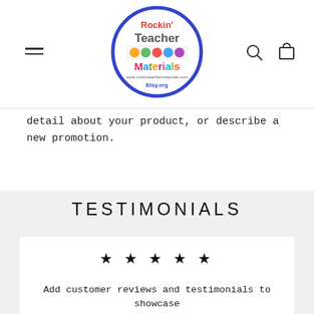[Figure (logo): Rockin' Teacher Materials logo — circular blue border with colorful cartoon children and text inside]
detail about your product, or describe a new promotion.
TESTIMONIALS
★ ★ ★ ★ ★
Add customer reviews and testimonials to showcase